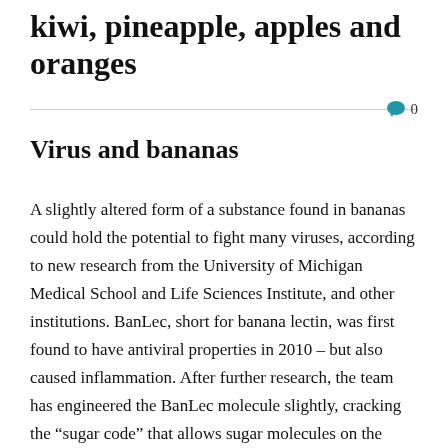kiwi, pineapple, apples and oranges
0
Virus and bananas
A slightly altered form of a substance found in bananas could hold the potential to fight many viruses, according to new research from the University of Michigan Medical School and Life Sciences Institute, and other institutions. BanLec, short for banana lectin, was first found to have antiviral properties in 2010 – but also caused inflammation. After further research, the team has engineered the BanLec molecule slightly, cracking the “sugar code” that allows sugar molecules on the surface of all that interact with the ti...